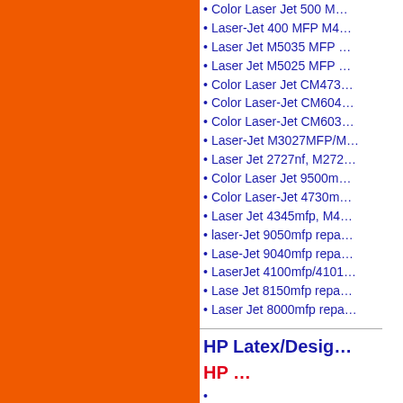Color Laser Jet 500 M…
Laser-Jet 400 MFP M4…
Laser Jet M5035 MFP …
Laser Jet M5025 MFP …
Color Laser Jet CM473…
Color Laser-Jet CM604…
Color Laser-Jet CM603…
Laser-Jet M3027MFP/M…
Laser Jet 2727nf, M272…
Color Laser Jet 9500m…
Color Laser-Jet 4730m…
Laser Jet 4345mfp, M4…
laser-Jet 9050mfp repa…
Lase-Jet 9040mfp repa…
LaserJet 4100mfp/4101…
Lase Jet 8150mfp repa…
Laser Jet 8000mfp repa…
HP Latex/Desig…
HP …
HP Latex 310 repair an…